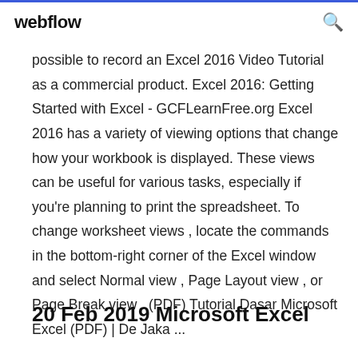webflow
possible to record an Excel 2016 Video Tutorial as a commercial product. Excel 2016: Getting Started with Excel - GCFLearnFree.org Excel 2016 has a variety of viewing options that change how your workbook is displayed. These views can be useful for various tasks, especially if you're planning to print the spreadsheet. To change worksheet views , locate the commands in the bottom-right corner of the Excel window and select Normal view , Page Layout view , or Page Break view . (PDF) Tutorial Dasar Microsoft Excel (PDF) | De Jaka ...
20 Feb 2019 Microsoft Excel 2016/2013/2010/2007/2003 |